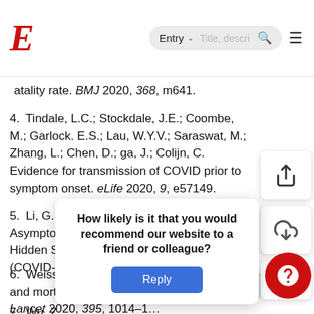E  Entry  Title, descri...
atality rate. BMJ 2020, 368, m641.
4. Tindale, L.C.; Stockdale, J.E.; Coombe, M.; Garlock. E.S.; Lau, W.Y.V.; Saraswat, M.; Zhang, L.; Chen, D.; ga, J.; Colijn, C. Evidence for transmission of COVID prior to symptom onset. eLife 2020, 9, e57149.
5. Li, G.; Li, W.; He, X.; Cao, Y. Asymptomatic and Presymptomatic Infectors: Hidden Sources of Coronavirus Disease 2019 (COVID-19). Clin. Infect. Dis. 2020, 71, 2018
6. Weiss, P.; Murdoch, D.R. Clinical course and mortality risk of severe COVID-19. Lancet 2020, 395, 1014–1
7. Wu, Z.; ...important lessons... outbreak... cases from the... Prevention